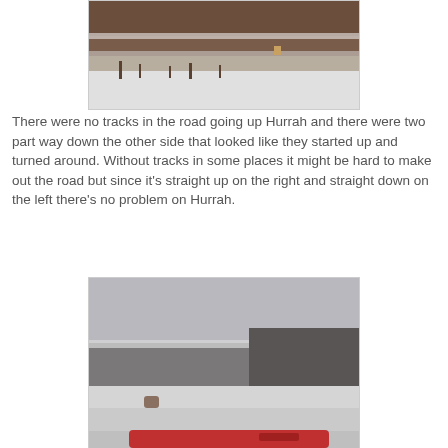[Figure (photo): Snowy road scene with rocky cliffs and desert scrub brush covered in snow. Top portion of a snowy landscape with reddish-brown canyon walls in the background.]
There were no tracks in the road going up Hurrah and there were two part way down the other side that looked like they started up and turned around. Without tracks in some places it might be hard to make out the road but since it's straight up on the right and straight down on the left there's no problem on Hurrah.
[Figure (photo): Snow-covered landscape viewed from inside or alongside a red vehicle. Grey overcast sky above rocky mesa terrain with deep snow in foreground and a red vehicle hood visible at bottom.]